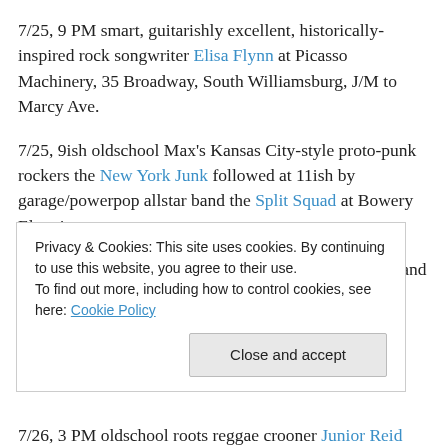7/25, 9 PM smart, guitarishly excellent, historically-inspired rock songwriter Elisa Flynn at Picasso Machinery, 35 Broadway, South Williamsburg, J/M to Marcy Ave.
7/25, 9ish oldschool Max's Kansas City-style proto-punk rockers the New York Junk followed at 11ish by garage/powerpop allstar band the Split Squad at Bowery Electric
7/25, 9 PM sunny, authentically Caribbean rocksteady and ska with the charmingly female-fronted Big Takeover
Privacy & Cookies: This site uses cookies. By continuing to use this website, you agree to their use. To find out more, including how to control cookies, see here: Cookie Policy
Close and accept
7/26, 3 PM oldschool roots reggae crooner Junior Reid